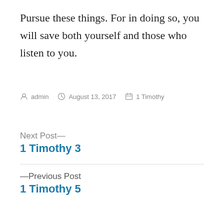Pursue these things. For in doing so, you will save both yourself and those who listen to you.
By admin   August 13, 2017   1 Timothy
Next Post—
1 Timothy 3
—Previous Post
1 Timothy 5